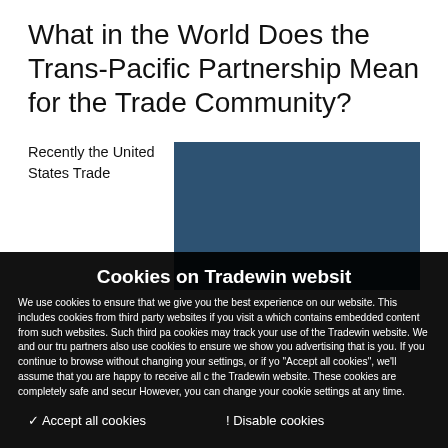What in the World Does the Trans-Pacific Partnership Mean for the Trade Community?
Recently the United States Trade
[Figure (photo): Blue rectangular image area partially visible, steel blue/navy background]
Cookies on Tradewin website
We use cookies to ensure that we give you the best experience on our website. This includes cookies from third party websites if you visit a page which contains embedded content from such websites. Such third party cookies may track your use of the Tradewin website. We and our trusted partners also use cookies to ensure we show you advertising that is relevant to you. If you continue to browse without changing your settings, or if you click "Accept all cookies", we'll assume that you are happy to receive all cookies on the Tradewin website. These cookies are completely safe and secure. However, you can change your cookie settings at any time.
✓ Accept all cookies
! Disable cookies